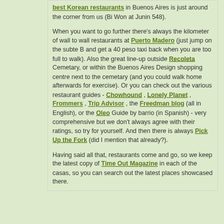best Korean restaurants in Buenos Aires is just around the corner from us (Bi Won at Junin 548).

When you want to go further there's always the kilometer of wall to wall restaurants at Puerto Madero (just jump on the subte B and get a 40 peso taxi back when you are too full to walk). Also the great line-up outside Recoleta Cemetary, or within the Buenos Aires Design shopping centre next to the cemetary (and you could walk home afterwards for exercise). Or you can check out the various restaurant guides - Chowhound , Lonely Planet , Frommers , Trip Advisor , the Freedman blog (all in English), or the Oleo Guide by barrio (in Spanish) - very comprehensive but we don't always agree with their ratings, so try for yourself. And then there is always Pick Up the Fork (did I mention that already?).

Having said all that, restaurants come and go, so we keep the latest copy of Time Out Magazine in each of the casas, so you can search out the latest places showcased there.